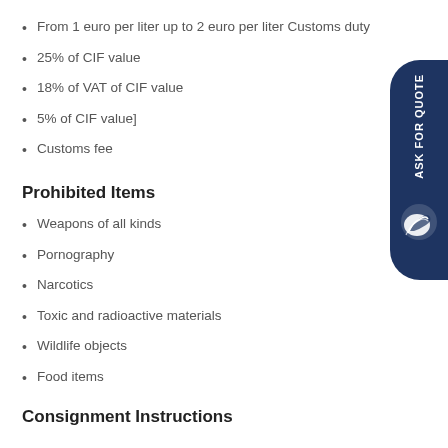From 1 euro per liter up to 2 euro per liter Customs duty
25% of CIF value
18% of VAT of CIF value
5% of CIF value]
Customs fee
Prohibited Items
Weapons of all kinds
Pornography
Narcotics
Toxic and radioactive materials
Wildlife objects
Food items
Consignment Instructions